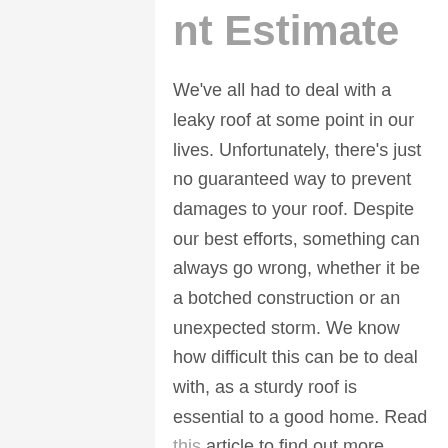nt Estimate
We've all had to deal with a leaky roof at some point in our lives. Unfortunately, there's just no guaranteed way to prevent damages to your roof. Despite our best efforts, something can always go wrong, whether it be a botched construction or an unexpected storm. We know how difficult this can be to deal with, as a sturdy roof is essential to a good home. Read this article to find out more about organizing a total roof replacement.